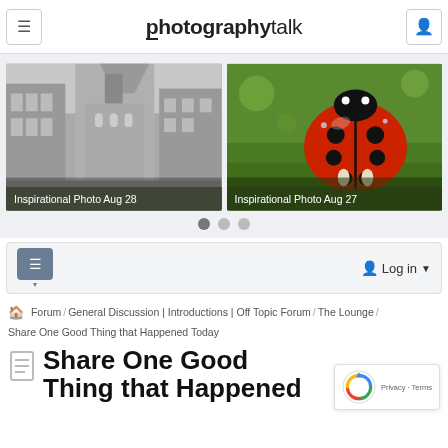photographytalk
[Figure (photo): Black and white photo of a European street with historic buildings and a cathedral]
Inspirational Photo Aug 28
[Figure (photo): Close-up macro photo of a red ladybug on green grass]
Inspirational Photo Aug 27
Log in
Forum / General Discussion | Introductions | Off Topic Forum / The Lounge / Share One Good Thing that Happened Today
Share One Good Thing that Happened Today